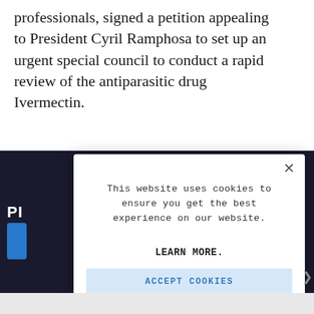professionals, signed a petition appealing to President Cyril Ramphosa to set up an urgent special council to conduct a rapid review of the antiparasitic drug Ivermectin.
[Figure (screenshot): A dark-background webpage screenshot partially visible behind a cookie consent modal dialog. On the left side, white bold text 'PI' is visible and a blue button stub is partially shown.]
This website uses cookies to ensure you get the best experience on our website.
LEARN MORE.
ACCEPT COOKIES